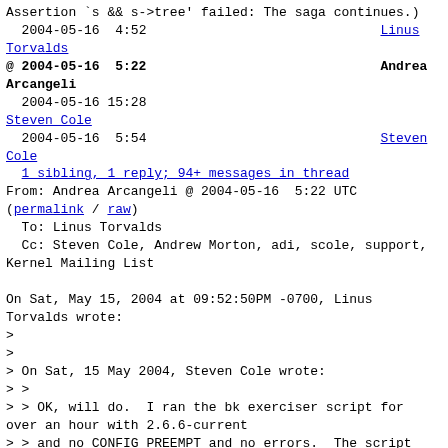Assertion `s && s->tree' failed: The saga continues.)
  2004-05-16  4:52                              Linus Torvalds
@ 2004-05-16  5:22                              Andrea Arcangeli
  2004-05-16 15:28
Steven Cole
  2004-05-16  5:54                              Steven Cole
  1 sibling, 1 reply; 94+ messages in thread
From: Andrea Arcangeli @ 2004-05-16  5:22 UTC (permalink / raw)
  To: Linus Torvalds
  Cc: Steven Cole, Andrew Morton, adi, scole, support, Kernel Mailing List

On Sat, May 15, 2004 at 09:52:50PM -0700, Linus Torvalds wrote:
>
>
> On Sat, 15 May 2004, Steven Cole wrote:
> >
> > OK, will do.  I ran the bk exerciser script for over an hour with 2.6.6-current
> > and no CONFIG_PREEMPT and no errors.  The script only reported one
> > iteration finished, while I got it to do 36 iterations over several hours earlier
> > today (with a 2.6.3-4mdk vendor kernel)
>